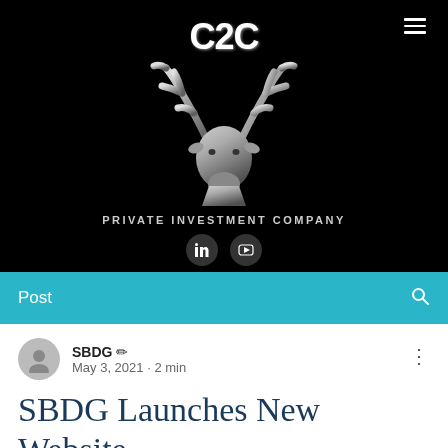[Figure (logo): C2C Private Investment Company logo: black background with silver deer/stag head illustration, C2C text in white, LinkedIn and YouTube social icons, hamburger menu icon, and text PRIVATE INVESTMENT COMPANY]
Post
SBDG ✏
May 3, 2021 · 2 min
SBDG Launches New Website